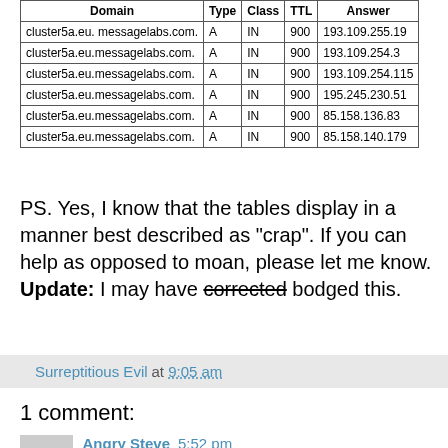| Domain | Type | Class | TTL | Answer |
| --- | --- | --- | --- | --- |
| cluster5a.eu. messagelabs.com. | A | IN | 900 | 193.109.255.19 |
| cluster5a.eu.messagelabs.com. | A | IN | 900 | 193.109.254.3 |
| cluster5a.eu.messagelabs.com. | A | IN | 900 | 193.109.254.115 |
| cluster5a.eu.messagelabs.com. | A | IN | 900 | 195.245.230.51 |
| cluster5a.eu.messagelabs.com. | A | IN | 900 | 85.158.136.83 |
| cluster5a.eu.messagelabs.com. | A | IN | 900 | 85.158.140.179 |
PS. Yes, I know that the tables display in a manner best described as "crap". If you can help as opposed to moan, please let me know. Update: I may have corrected bodged this.
Surreptitious Evil at 9:05 am
1 comment:
Angry Steve  5:52 pm
I do wish Journos and Pols would shut up about how the